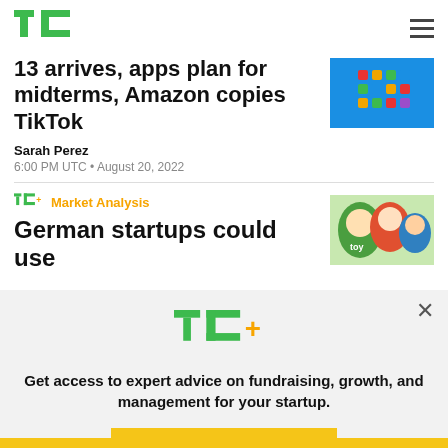TechCrunch logo and navigation
13 arrives, apps plan for midterms, Amazon copies TikTok
Sarah Perez
6:00 PM UTC • August 20, 2022
[Figure (screenshot): Colorful grid of app icons on blue background]
[Figure (logo): TC+ Market Analysis label with article thumbnail showing cartoon characters]
German startups could use...
[Figure (screenshot): TC+ popup overlay with logo, promotional text and Explore Now button]
Get access to expert advice on fundraising, growth, and management for your startup.
EXPLORE NOW